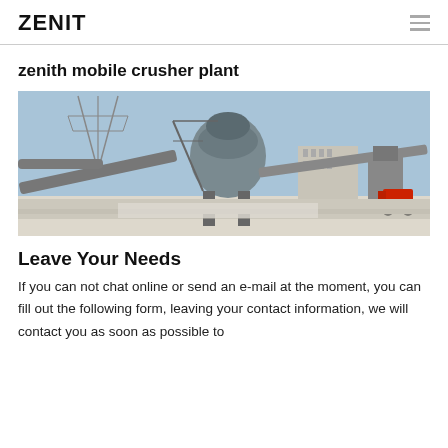ZENIT
zenith mobile crusher plant
[Figure (photo): Outdoor industrial mobile crusher plant with conveyor belts, large cylindrical crusher unit, steel framework, electricity pylon in background, red forklift on right, white dusty ground]
Leave Your Needs
If you can not chat online or send an e-mail at the moment, you can fill out the following form, leaving your contact information, we will contact you as soon as possible to